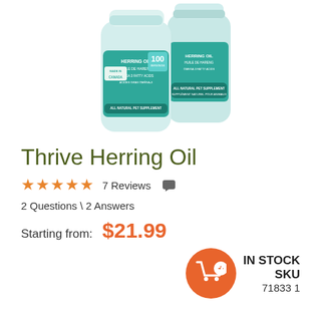[Figure (photo): Two Thrive Herring Oil bottles with teal labels showing omega fatty acids supplement for pets, made in Canada]
Thrive Herring Oil
★★★★★ 7 Reviews  💬 2 Questions \ 2 Answers
Starting from:  $21.99
IN STOCK  SKU  71833 1